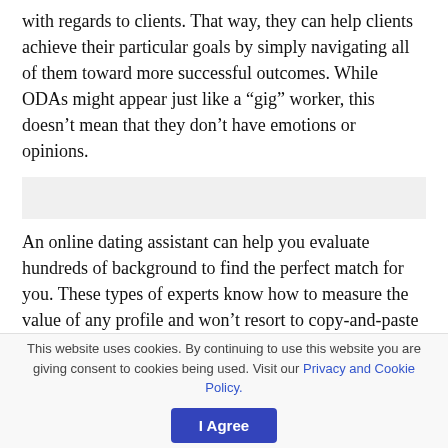with regards to clients. That way, they can help clients achieve their particular goals by simply navigating all of them toward more successful outcomes. While ODAs might appear just like a “gig” worker, this doesn’t mean that they don’t have emotions or opinions.
An online dating assistant can help you evaluate hundreds of background to find the perfect match for you. These types of experts know how to measure the value of any profile and won’t resort to copy-and-paste emails. In the end, there is a perfect match for your requirements and
This website uses cookies. By continuing to use this website you are giving consent to cookies being used. Visit our Privacy and Cookie Policy.